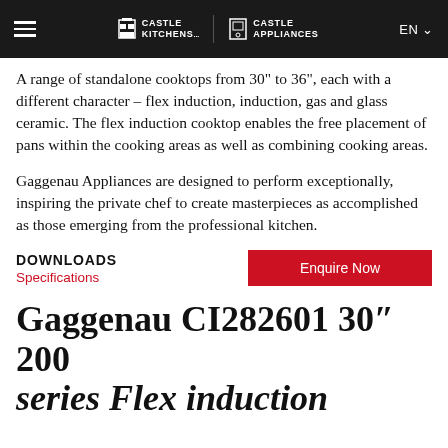CASTLE KITCHENS | CASTLE APPLIANCES | EN
A range of standalone cooktops from 30" to 36", each with a different character – flex induction, induction, gas and glass ceramic. The flex induction cooktop enables the free placement of pans within the cooking areas as well as combining cooking areas.
Gaggenau Appliances are designed to perform exceptionally, inspiring the private chef to create masterpieces as accomplished as those emerging from the professional kitchen.
DOWNLOADS
Specifications
Enquire Now
Gaggenau CI282601 30″ 200 series Flex induction...